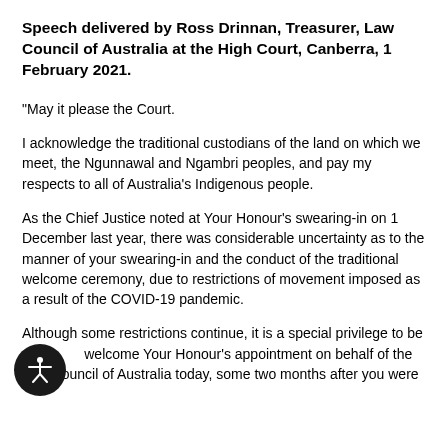Speech delivered by Ross Drinnan, Treasurer, Law Council of Australia at the High Court, Canberra, 1 February 2021.
"May it please the Court.
I acknowledge the traditional custodians of the land on which we meet, the Ngunnawal and Ngambri peoples, and pay my respects to all of Australia's Indigenous people.
As the Chief Justice noted at Your Honour's swearing-in on 1 December last year, there was considerable uncertainty as to the manner of your swearing-in and the conduct of the traditional welcome ceremony, due to restrictions of movement imposed as a result of the COVID-19 pandemic.
Although some restrictions continue, it is a special privilege to be able to welcome Your Honour's appointment on behalf of the Law Council of Australia today, some two months after you were